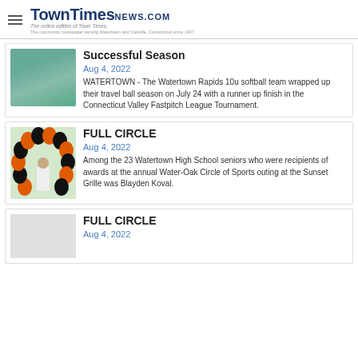TownTimesNEWS.COM — The online edition of Town Times. The community newspaper serving Watertown and Oakville, Connecticut since 1947
Successful Season
Aug 4, 2022
WATERTOWN - The Watertown Rapids 10u softball team wrapped up their travel ball season on July 24 with a runner up finish in the Connecticut Valley Fastpitch League Tournament.
FULL CIRCLE
Aug 4, 2022
Among the 23 Watertown High School seniors who were recipients of awards at the annual Water-Oak Circle of Sports outing at the Sunset Grille was Blayden Koval.
FULL CIRCLE
Aug 4, 2022